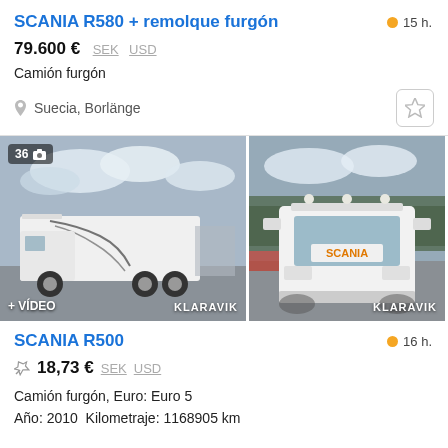SCANIA R580 + remolque furgón
15 h.
79.600 € SEK USD
Camión furgón
Suecia, Borlänge
[Figure (photo): Two photos of Scania trucks in a parking area. Left photo shows a white Scania R580 box truck with dragon graphic, badge '36' and camera icon, '+ VÍDEO' label, and KLARAVIK watermark. Right photo shows front view of white Scania with roof lights and KLARAVIK watermark.]
SCANIA R500
16 h.
18,73 € SEK USD
Camión furgón, Euro: Euro 5
Año: 2010  Kilometraje: 1168905 km